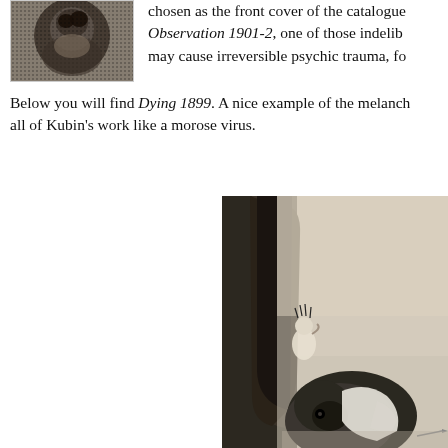[Figure (photo): Small black and white halftone photograph, cropped portrait or figure, appears to be a person or creature in a dark grainy style]
chosen as the front cover of the catalogue Observation 1901-2, one of those indelib may cause irreversible psychic trauma, fo
Below you will find Dying 1899. A nice example of the melanch all of Kubin's work like a morose virus.
[Figure (illustration): Large illustration by Kubin in sepia/grey tones showing a dark architectural interior with a figure clinging to a curved dark wall or column, and a dark rounded creature below with white fabric, and what appears to be a small object in the lower right. Melancholic, surreal style.]